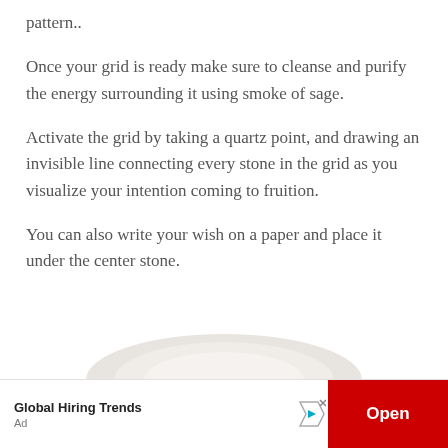pattern..
Once your grid is ready make sure to cleanse and purify the energy surrounding it using smoke of sage.
Activate the grid by taking a quartz point, and drawing an invisible line connecting every stone in the grid as you visualize your intention coming to fruition.
You can also write your wish on a paper and place it under the center stone.
[Figure (photo): Partial view of a white/cream colored crystal or stone at the bottom of the content area]
[Figure (other): Advertisement banner: Global Hiring Trends with an Open button]